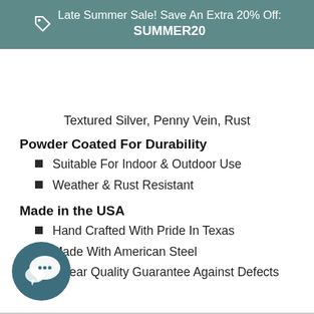Late Summer Sale! Save An Extra 20% Off: SUMMER20
Textured Silver, Penny Vein, Rust
Powder Coated For Durability
Suitable For Indoor & Outdoor Use
Weather & Rust Resistant
Made in the USA
Hand Crafted With Pride In Texas
Made With American Steel
5 Year Quality Guarantee Against Defects
[Figure (illustration): Chat/support bubble icon in dark teal circle, bottom-left corner]